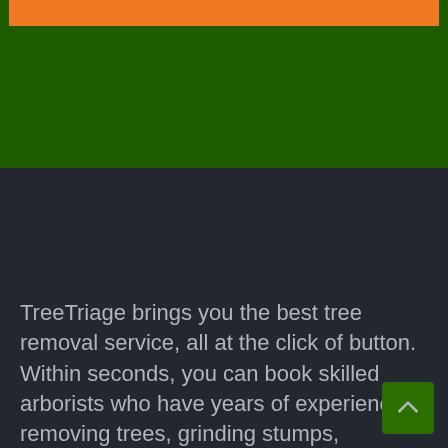[Figure (screenshot): Dark green header section of a website (TreeTriage) with an orange navigation bar at the top]
TreeTriage brings you the best tree removal service, all at the click of button. Within seconds, you can book skilled arborists who have years of experience removing trees, grinding stumps,